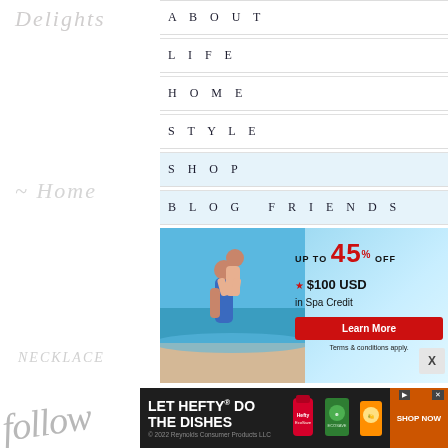ABOUT
LIFE
HOME
STYLE
SHOP
BLOG FRIENDS
[Figure (photo): Advertisement banner: couple running on beach, 'UP TO 45% OFF, $100 USD in Spa Credit, Learn More, Terms & conditions apply.']
[Figure (photo): Advertisement banner: LET HEFTY DO THE DISHES - Hefty EcoSave product with SHOP NOW button]